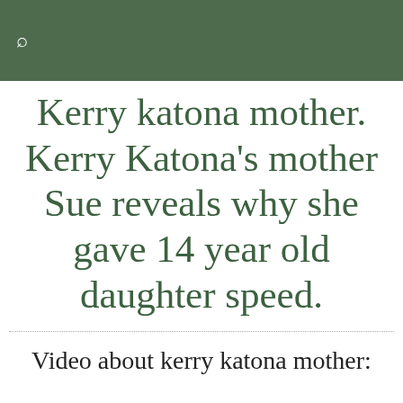Kerry katona mother. Kerry Katona's mother Sue reveals why she gave 14 year old daughter speed.
Video about kerry katona mother: